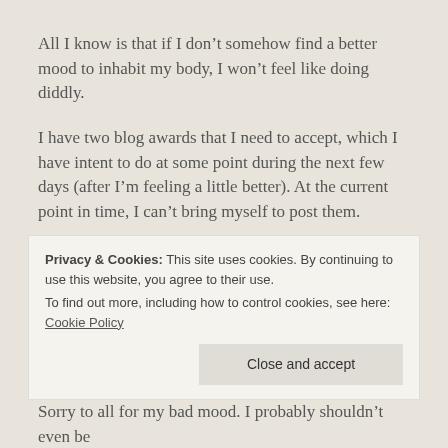All I know is that if I don’t somehow find a better mood to inhabit my body, I won’t feel like doing diddly.
I have two blog awards that I need to accept, which I have intent to do at some point during the next few days (after I’m feeling a little better). At the current point in time, I can’t bring myself to post them.
I think I’ve responded to all the comments I needed to on here. Checked out new followers, etc. (WELCOME TO MY MADNESS!)
I need to...
Privacy & Cookies: This site uses cookies. By continuing to use this website, you agree to their use.
To find out more, including how to control cookies, see here: Cookie Policy
Sorry to all for my bad mood. I probably shouldn’t even be